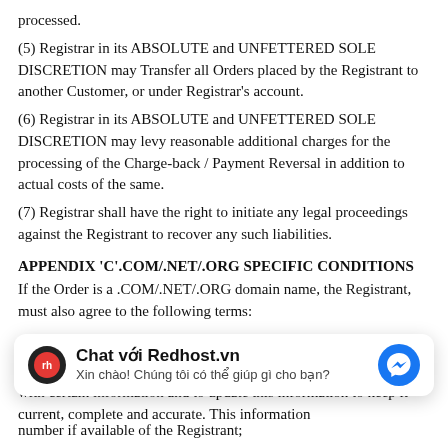processed.
(5) Registrar in its ABSOLUTE and UNFETTERED SOLE DISCRETION may Transfer all Orders placed by the Registrant to another Customer, or under Registrar's account.
(6) Registrar in its ABSOLUTE and UNFETTERED SOLE DISCRETION may levy reasonable additional charges for the processing of the Charge-back / Payment Reversal in addition to actual costs of the same.
(7) Registrar shall have the right to initiate any legal proceedings against the Registrant to recover any such liabilities.
APPENDIX 'C'.COM/.NET/.ORG SPECIFIC CONDITIONS
If the Order is a .COM/.NET/.ORG domain name, the Registrant, must also agree to the following terms:
1. PROVISION OF REGISTRATION DATA
As part of the registration process, you are required to provide us with certain information and to update this information to keep it current, complete and accurate. This information
[Figure (other): Chat widget overlay: Chat với Redhost.vn - Xin chào! Chúng tôi có thể giúp gì cho bạn?]
number if available of the Registrant;